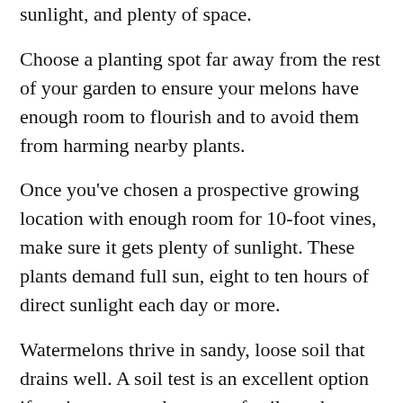sunlight, and plenty of space.
Choose a planting spot far away from the rest of your garden to ensure your melons have enough room to flourish and to avoid them from harming nearby plants.
Once you've chosen a prospective growing location with enough room for 10-foot vines, make sure it gets plenty of sunlight. These plants demand full sun, eight to ten hours of direct sunlight each day or more.
Watermelons thrive in sandy, loose soil that drains well. A soil test is an excellent option if you're unsure what type of soil you have. This will help you understand your soil, its pH, and the type of fertilizer